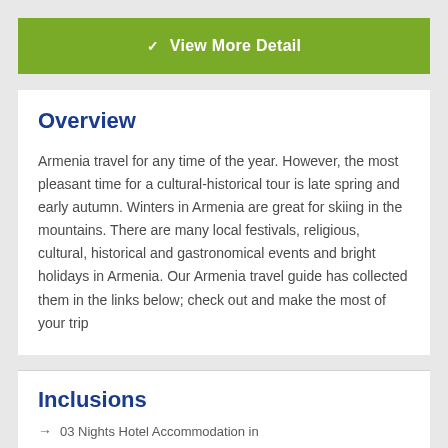✓ View More Detail
Overview
Armenia travel for any time of the year. However, the most pleasant time for a cultural-historical tour is late spring and early autumn. Winters in Armenia are great for skiing in the mountains. There are many local festivals, religious, cultural, historical and gastronomical events and bright holidays in Armenia. Our Armenia travel guide has collected them in the links below; check out and make the most of your trip
Inclusions
→ 03 Nights Hotel Accommodation in